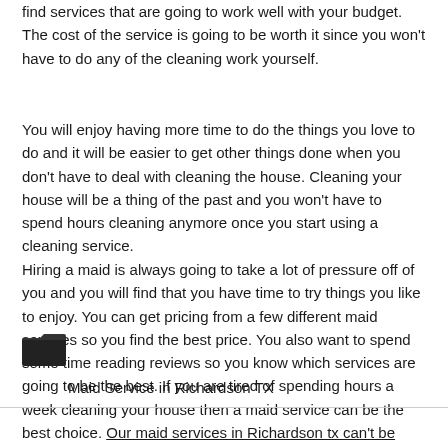find services that are going to work well with your budget. The cost of the service is going to be worth it since you won't have to do any of the cleaning work yourself.
You will enjoy having more time to do the things you love to do and it will be easier to get other things done when you don't have to deal with cleaning the house. Cleaning your house will be a thing of the past and you won't have to spend hours cleaning anymore once you start using a cleaning service.
Hiring a maid is always going to take a lot of pressure off of you and you will find that you have time to try things you like to enjoy. You can get pricing from a few different maid services so you find the best price. You also want to spend some time reading reviews so you know which services are going to be the best. If you are tired of spending hours a week cleaning your house then a maid service can be the best choice. Our maid services in Richardson tx can't be beaten.
[Figure (illustration): Folder icon]
Maid Service in Richardson TX